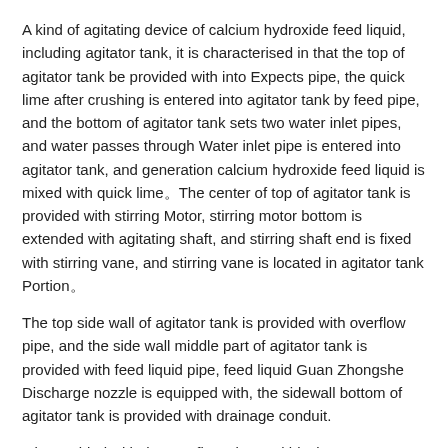A kind of agitating device of calcium hydroxide feed liquid, including agitator tank, it is characterised in that the top of agitator tank be provided with into Expects pipe, the quick lime after crushing is entered into agitator tank by feed pipe, and the bottom of agitator tank sets two water inlet pipes, and water passes through Water inlet pipe is entered into agitator tank, and generation calcium hydroxide feed liquid is mixed with quick lime。The center of top of agitator tank is provided with stirring Motor, stirring motor bottom is extended with agitating shaft, and stirring shaft end is fixed with stirring vane, and stirring vane is located in agitator tank Portion。
The top side wall of agitator tank is provided with overflow pipe, and the side wall middle part of agitator tank is provided with feed liquid pipe, feed liquid Guan Zhongshe Discharge nozzle is equipped with, the sidewall bottom of agitator tank is provided with drainage conduit.
It is provided with the overflow pipe and blocks miscellaneous grid.
The drainage conduit is diagonally downward.